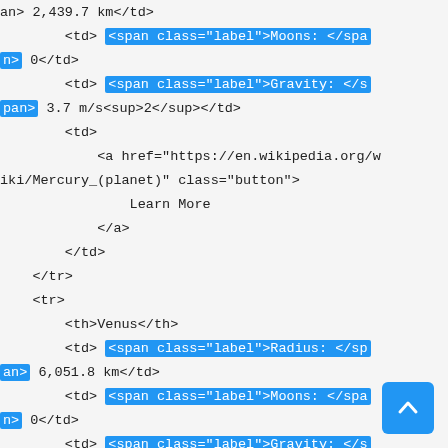HTML/CSS code snippet showing planet data table markup with Mercury and Venus rows, including highlighted span elements for labels, and anchor tags for Wikipedia links.